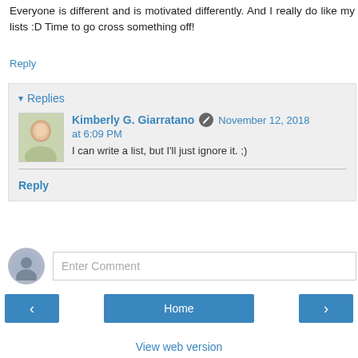Everyone is different and is motivated differently. And I really do like my lists :D Time to go cross something off!
Reply
Replies
Kimberly G. Giarratano  November 12, 2018 at 6:09 PM
I can write a list, but I'll just ignore it. ;)
Reply
Enter Comment
Home
View web version